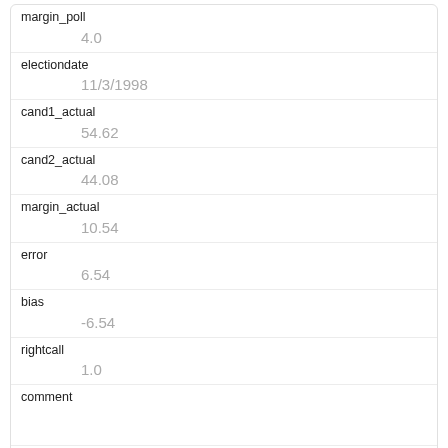| Field | Value |
| --- | --- |
| margin_poll | 4.0 |
| electiondate | 11/3/1998 |
| cand1_actual | 54.62 |
| cand2_actual | 44.08 |
| margin_actual | 10.54 |
| error | 6.54 |
| bias | -6.54 |
| rightcall | 1.0 |
| comment |  |
| partisan | D |